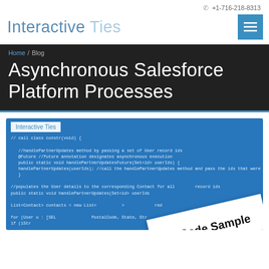+1-716-218-8313
[Figure (logo): Interactive Ties logo text in blue/light blue]
[Figure (screenshot): Blue menu/hamburger button icon]
Home / Blog
Asynchronous Salesforce Platform Processes
[Figure (screenshot): Blue code screenshot box showing Apex code for handlePartnerUpdates method with @future annotation and Interactive Ties overlay label, plus rotated white card overlay reading 'er Code Sample']